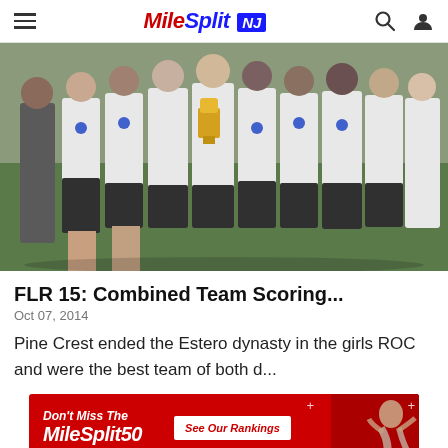MileSplit NJ
[Figure (photo): Group photo of young female cross country runners in white team shirts and medals, posing together holding a trophy]
FLR 15: Combined Team Scoring...
Oct 07, 2014
Pine Crest ended the Estero dynasty in the girls ROC and were the best team of both d...
[Figure (infographic): MileSplit50 advertisement banner: Don't Miss The MileSplit50 - See Our Rankings]